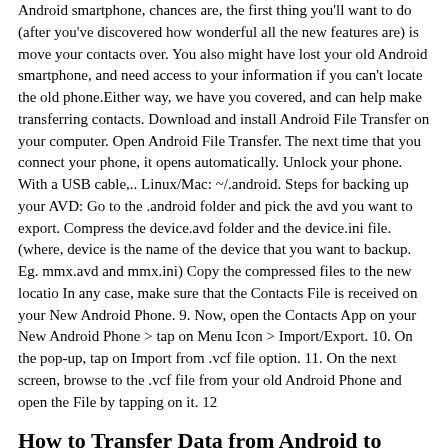Android smartphone, chances are, the first thing you'll want to do (after you've discovered how wonderful all the new features are) is move your contacts over. You also might have lost your old Android smartphone, and need access to your information if you can't locate the old phone.Either way, we have you covered, and can help make transferring contacts. Download and install Android File Transfer on your computer. Open Android File Transfer. The next time that you connect your phone, it opens automatically. Unlock your phone. With a USB cable,.. Linux/Mac: ~/.android. Steps for backing up your AVD: Go to the .android folder and pick the avd you want to export. Compress the device.avd folder and the device.ini file. (where, device is the name of the device that you want to backup. Eg. mmx.avd and mmx.ini) Copy the compressed files to the new locatio In any case, make sure that the Contacts File is received on your New Android Phone. 9. Now, open the Contacts App on your New Android Phone > tap on Menu Icon > Import/Export. 10. On the pop-up, tap on Import from .vcf file option. 11. On the next screen, browse to the .vcf file from your old Android Phone and open the File by tapping on it. 12
How to Transfer Data from Android to Android - Switc
These 11 popular Android apps let hackers copy your password and break into your account ANDROID smartphone and tablet users could find themselves vulnerable to a devastating attack from hackers.
Article Summary X. 1.Open your Android's Settings. 2.Tap the Passwords. 3. Scroll to the top or bottom of the